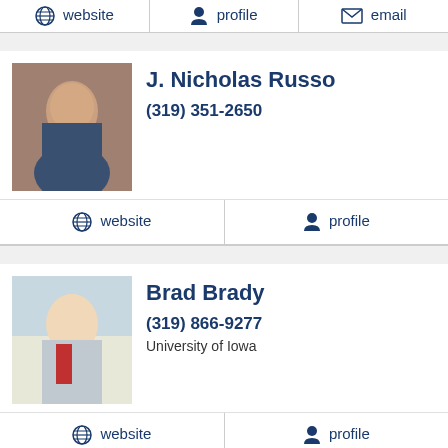website
profile
email
[Figure (photo): Headshot of J. Nicholas Russo]
J. Nicholas Russo
(319) 351-2650
website
profile
[Figure (photo): Headshot of Brad Brady]
Brad Brady
(319) 866-9277
University of Iowa
website
profile
[Figure (photo): Headshot of Robert O'Shea]
Robert O'Shea
(319) 866-9277